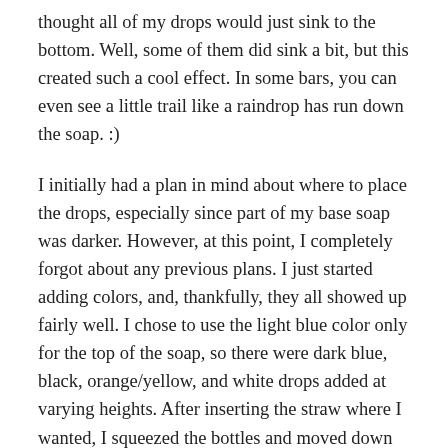thought all of my drops would just sink to the bottom. Well, some of them did sink a bit, but this created such a cool effect. In some bars, you can even see a little trail like a raindrop has run down the soap. :)
I initially had a plan in mind about where to place the drops, especially since part of my base soap was darker. However, at this point, I completely forgot about any previous plans. I just started adding colors, and, thankfully, they all showed up fairly well. I chose to use the light blue color only for the top of the soap, so there were dark blue, black, orange/yellow, and white drops added at varying heights. After inserting the straw where I wanted, I squeezed the bottles and moved down the mold, trying to remain at the same level all the way across. I really felt like I was squeezing too hard, but even with a thin batter, the squeezing was apparently